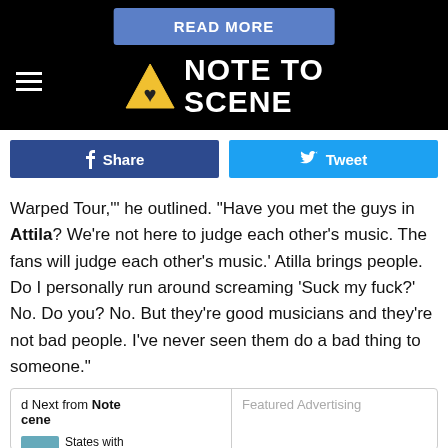[Figure (logo): Note To Scene website header with 'READ MORE' button, hamburger menu icon, yellow warning triangle logo, and 'NOTE TO SCENE' text in white on black background]
[Figure (other): Facebook Share button (dark blue) and Twitter Tweet button (light blue) side by side]
Warped Tour," he outlined. "Have you met the guys in Attila? We're not here to judge each other's music. The fans will judge each other's music.' Atilla brings people. Do I personally run around screaming 'Suck my fuck?' No. Do you? No. But they're good musicians and they're not bad people. I've never seen them do a bad thing to someone."
d Next from Note
cene
States with
the Most
Featured Advertising